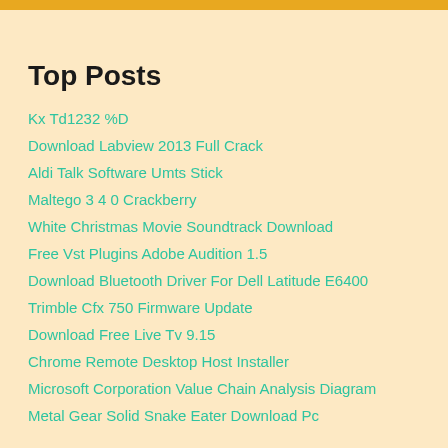Top Posts
Kx Td1232 %D
Download Labview 2013 Full Crack
Aldi Talk Software Umts Stick
Maltego 3 4 0 Crackberry
White Christmas Movie Soundtrack Download
Free Vst Plugins Adobe Audition 1.5
Download Bluetooth Driver For Dell Latitude E6400
Trimble Cfx 750 Firmware Update
Download Free Live Tv 9.15
Chrome Remote Desktop Host Installer
Microsoft Corporation Value Chain Analysis Diagram
Metal Gear Solid Snake Eater Download Pc